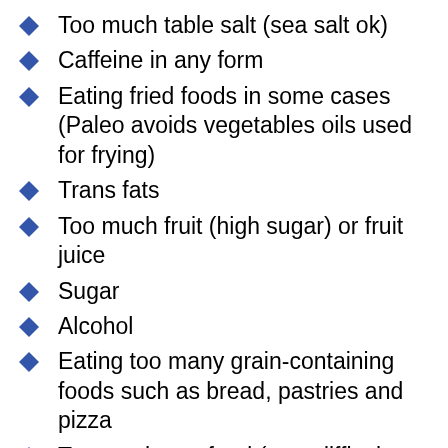Too much table salt (sea salt ok)
Caffeine in any form
Eating fried foods in some cases (Paleo avoids vegetables oils used for frying)
Trans fats
Too much fruit (high sugar) or fruit juice
Sugar
Alcohol
Eating too many grain-containing foods such as bread, pastries and pizza
Too much raw food (very difficult to digest and obtain nutrients from)
Not eating enough cooked vegetables (which maximize mineral absorption)
Vegetarian and vegan diets deficient in